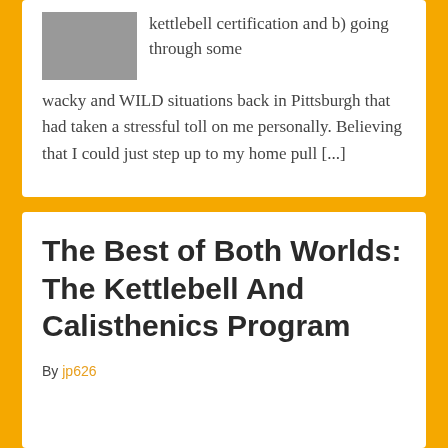[Figure (photo): Small photo of a person, partially visible, top-left of upper card]
kettlebell certification and b) going through some wacky and WILD situations back in Pittsburgh that had taken a stressful toll on me personally. Believing that I could just step up to my home pull [...]
The Best of Both Worlds: The Kettlebell And Calisthenics Program
By jp626